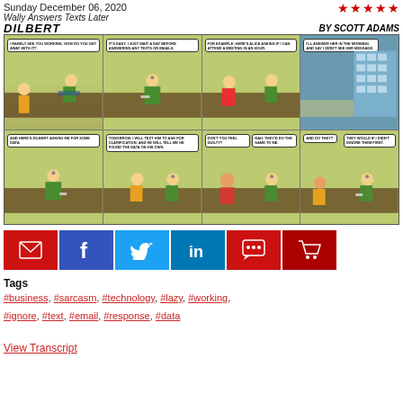Sunday December 06, 2020
Wally Answers Texts Later
★★★★★
DILBERT    BY SCOTT ADAMS
[Figure (illustration): Dilbert comic strip titled 'Wally Answers Texts Later' dated Sunday December 06, 2020. Eight panels showing Wally explaining how he avoids answering texts and emails by waiting a day, with Alice and Dilbert as examples.]
[Figure (infographic): Social sharing buttons: email (red), Facebook (blue), Twitter (light blue), LinkedIn (blue), comment (red), cart (dark red)]
Tags
#business, #sarcasm, #technology, #lazy, #working, #ignore, #text, #email, #response, #data
View Transcript